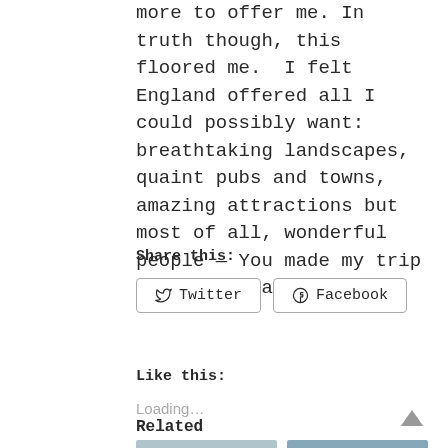more to offer me. In truth though, this floored me.  I felt England offered all I could possibly want: breathtaking landscapes, quaint pubs and towns, amazing attractions but most of all, wonderful people — You made my trip amazing, thank you.
Share this:
Twitter  Facebook
Like this:
Loading…
Related
[Figure (photo): Two thumbnail images at bottom of page]